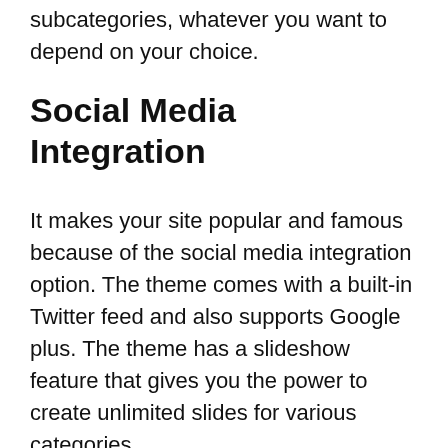subcategories, whatever you want to depend on your choice.
Social Media Integration
It makes your site popular and famous because of the social media integration option. The theme comes with a built-in Twitter feed and also supports Google plus. The theme has a slideshow feature that gives you the power to create unlimited slides for various categories.
It includes a one-page checkout page that gives you easy access to all your products. Your customized site will definitely attract visitors and encourage them to purchase from you, which